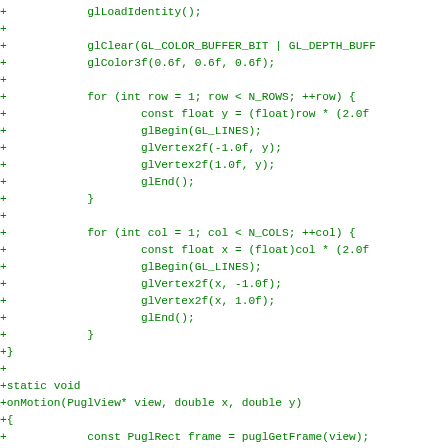Diff/patch code showing OpenGL rendering and PuglView motion handler in C